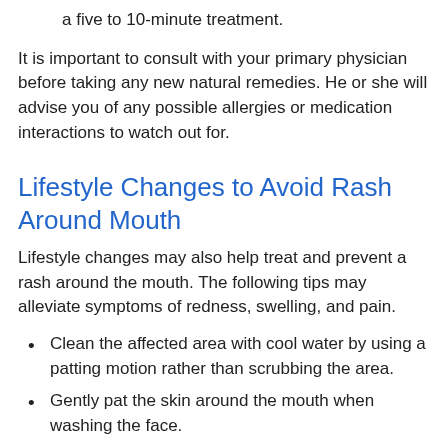a five to 10-minute treatment.
It is important to consult with your primary physician before taking any new natural remedies. He or she will advise you of any possible allergies or medication interactions to watch out for.
Lifestyle Changes to Avoid Rash Around Mouth
Lifestyle changes may also help treat and prevent a rash around the mouth. The following tips may alleviate symptoms of redness, swelling, and pain.
Clean the affected area with cool water by using a patting motion rather than scrubbing the area.
Gently pat the skin around the mouth when washing the face.
Use sunblock protection on face and lips.